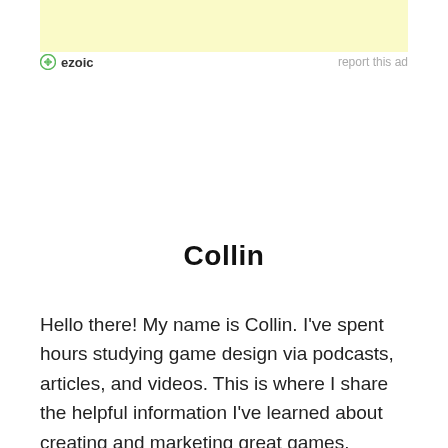[Figure (other): Ezoic ad banner placeholder with light yellow background, ezoic logo, and 'report this ad' link]
Collin
Hello there! My name is Collin. I've spent hours studying game design via podcasts, articles, and videos. This is where I share the helpful information I've learned about creating and marketing great games.